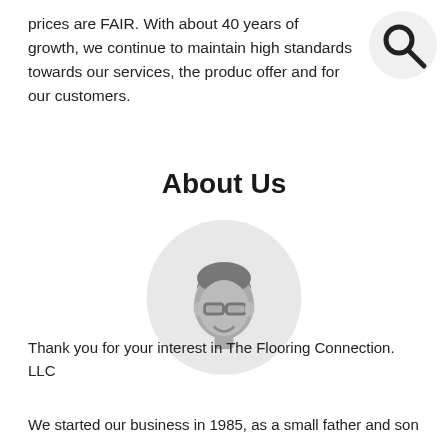prices are FAIR. With about 40 years of growth, we continue to maintain high standards towards our services, the products we offer and for our customers.
[Figure (illustration): Search icon - magnifying glass in a light circular background, top right corner]
About Us
[Figure (illustration): Circular avatar illustration of a person with glasses and dark hair on a light gray circular background]
Thank you for your interest in The Flooring Connection. LLC
We started our business in 1985, as a small father and son